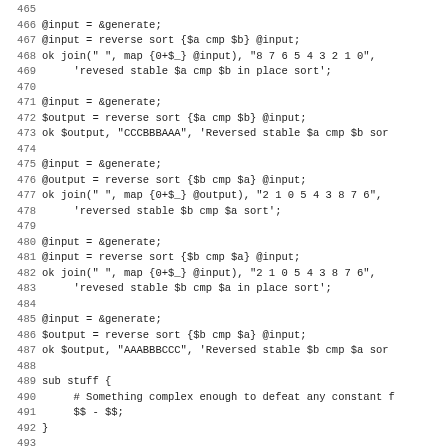Code listing lines 465-497 showing Perl sort test code